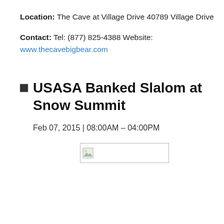Location: The Cave at Village Drive 40789 Village Drive
Contact: Tel: (877) 825-4388 Website: www.thecavebigbear.com
USASA Banked Slalom at Snow Summit
Feb 07, 2015 | 08:00AM – 04:00PM
[Figure (other): Broken/missing image placeholder with small landscape icon]